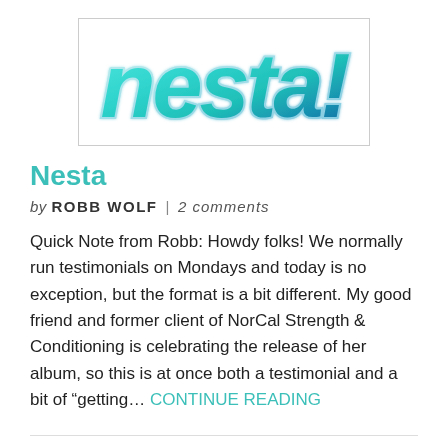[Figure (logo): Nesta! logo with teal/aqua bubbly 3D lettering in a bordered box]
Nesta
by ROBB WOLF | 2 comments
Quick Note from Robb: Howdy folks! We normally run testimonials on Mondays and today is no exception, but the format is a bit different. My good friend and former client of NorCal Strength & Conditioning is celebrating the release of her album, so this is at once both a testimonial and a bit of “getting… CONTINUE READING